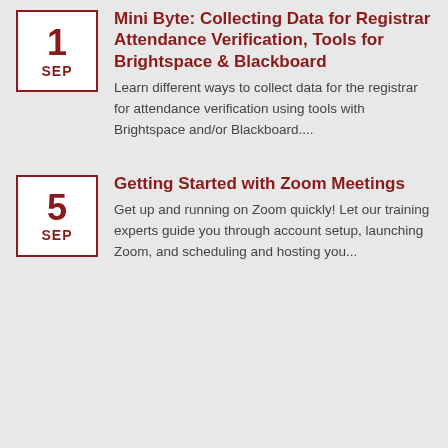Mini Byte: Collecting Data for Registrar Attendance Verification, Tools for Brightspace & Blackboard
Learn different ways to collect data for the registrar for attendance verification using tools with Brightspace and/or Blackboard....
Getting Started with Zoom Meetings
Get up and running on Zoom quickly! Let our training experts guide you through account setup, launching Zoom, and scheduling and hosting you...